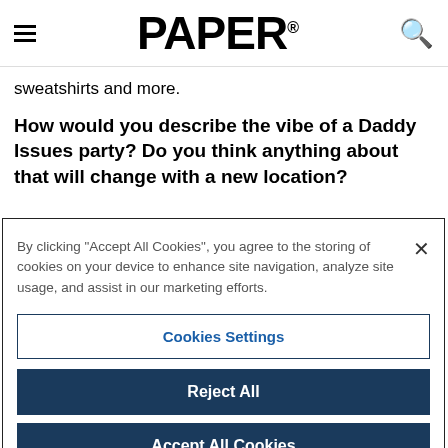PAPER
sweatshirts and more.
How would you describe the vibe of a Daddy Issues party? Do you think anything about that will change with a new location?
By clicking “Accept All Cookies”, you agree to the storing of cookies on your device to enhance site navigation, analyze site usage, and assist in our marketing efforts.
Cookies Settings
Reject All
Accept All Cookies